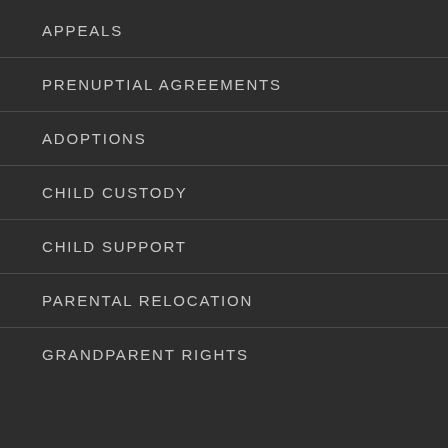APPEALS
PRENUPTIAL AGREEMENTS
ADOPTIONS
CHILD CUSTODY
CHILD SUPPORT
PARENTAL RELOCATION
GRANDPARENT RIGHTS